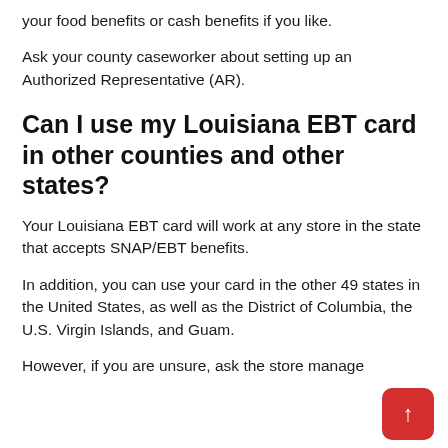your food benefits or cash benefits if you like.
Ask your county caseworker about setting up an Authorized Representative (AR).
Can I use my Louisiana EBT card in other counties and other states?
Your Louisiana EBT card will work at any store in the state that accepts SNAP/EBT benefits.
In addition, you can use your card in the other 49 states in the United States, as well as the District of Columbia, the U.S. Virgin Islands, and Guam.
However, if you are unsure, ask the store manage